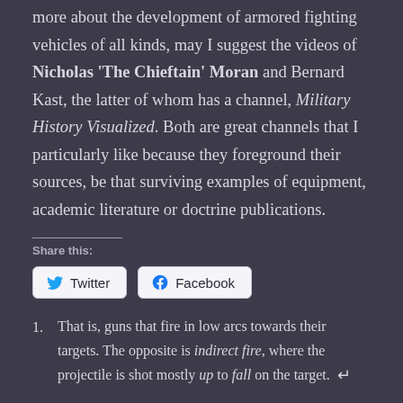more about the development of armored fighting vehicles of all kinds, may I suggest the videos of Nicholas 'The Chieftain' Moran and Bernard Kast, the latter of whom has a channel, Military History Visualized. Both are great channels that I particularly like because they foreground their sources, be that surviving examples of equipment, academic literature or doctrine publications.
Share this:
[Figure (other): Share buttons for Twitter and Facebook]
1. That is, guns that fire in low arcs towards their targets. The opposite is indirect fire, where the projectile is shot mostly up to fall on the target. ↵